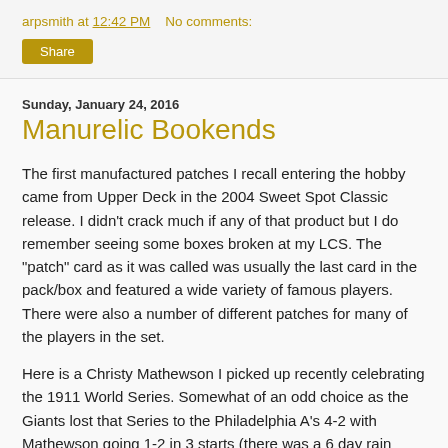arpsmith at 12:42 PM   No comments:
Share
Sunday, January 24, 2016
Manurelic Bookends
The first manufactured patches I recall entering the hobby came from Upper Deck in the 2004 Sweet Spot Classic release.  I didn't crack much if any of that product but I do remember seeing some boxes broken at my LCS.  The "patch" card as it was called was usually the last card in the pack/box and featured a wide variety of famous players.  There were also a number of different patches for many of the players in the set.
Here is a Christy Mathewson I picked up recently celebrating the 1911 World Series.  Somewhat of an odd choice as the Giants lost that Series to the Philadelphia A's 4-2 with Mathewson going 1-2 in 3 starts (there was a 6 day rain